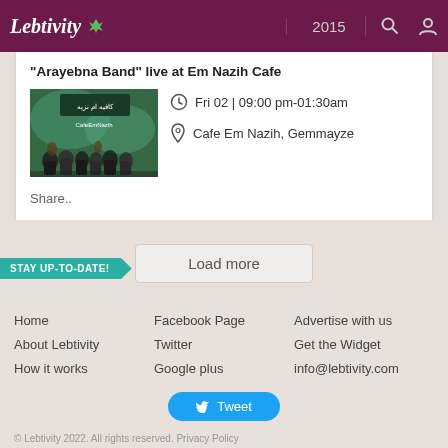Lebtivity 2015
"Arayebna Band" live at Em Nazih Cafe
[Figure (photo): Band performing at Cafe Em Nazih, with Arabic text and logo visible]
Fri 02 | 09:00 pm-01:30am
Cafe Em Nazih, Gemmayze
Share..
Load more
STAY UP-TO-DATE!
Home
Facebook Page
Advertise with us
About Lebtivity
Twitter
Get the Widget
How it works
Google plus
info@lebtivity.com
Tweet
© Lebtivity 2022. All rights reserved. Privacy Policy